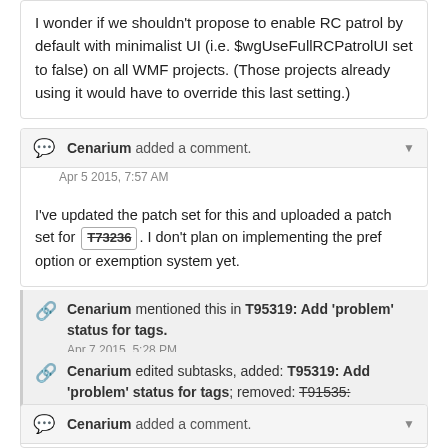I wonder if we shouldn't propose to enable RC patrol by default with minimalist UI (i.e. $wgUseFullRCPatrolUI set to false) on all WMF projects. (Those projects already using it would have to override this last setting.)
Cenarium added a comment. Apr 5 2015, 7:57 AM
I've updated the patch set for this and uploaded a patch set for T73236. I don't plan on implementing the pref option or exemption system yet.
Cenarium mentioned this in T95319: Add 'problem' status for tags. Apr 7 2015, 5:28 PM
Cenarium edited subtasks, added: T95319: Add 'problem' status for tags; removed: T91535: Performance issues with tags.
Cenarium added a comment. Apr 26 2015, 3:40 PM